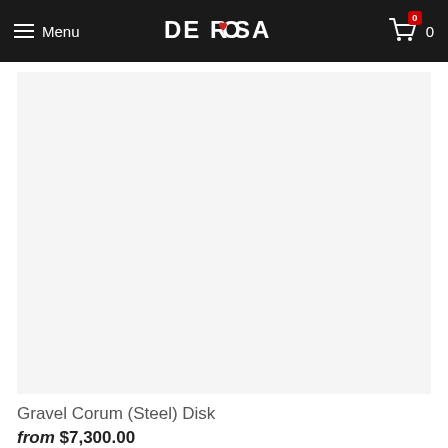Menu | DE ROSA | 0
[Figure (photo): Product image placeholder for Gravel Corum (Steel) Disk bicycle, light gray background]
Gravel Corum (Steel) Disk
from $7,300.00
[Figure (photo): Product image placeholder for second bicycle product, light gray background]